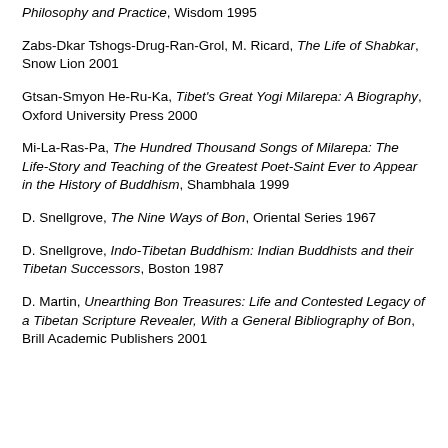Philosophy and Practice, Wisdom 1995
Zabs-Dkar Tshogs-Drug-Ran-Grol, M. Ricard, The Life of Shabkar, Snow Lion 2001
Gtsan-Smyon He-Ru-Ka, Tibet's Great Yogi Milarepa: A Biography, Oxford University Press 2000
Mi-La-Ras-Pa, The Hundred Thousand Songs of Milarepa: The Life-Story and Teaching of the Greatest Poet-Saint Ever to Appear in the History of Buddhism, Shambhala 1999
D. Snellgrove, The Nine Ways of Bon, Oriental Series 1967
D. Snellgrove, Indo-Tibetan Buddhism: Indian Buddhists and their Tibetan Successors, Boston 1987
D. Martin, Unearthing Bon Treasures: Life and Contested Legacy of a Tibetan Scripture Revealer, With a General Bibliography of Bon, Brill Academic Publishers 2001